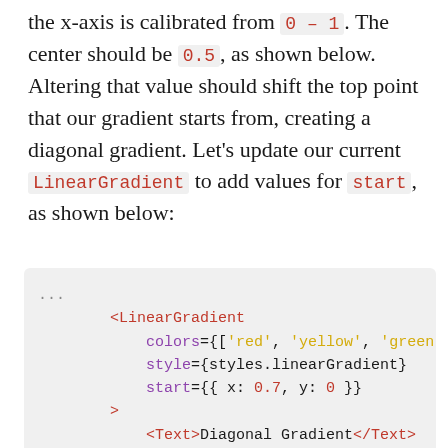the x-axis is calibrated from 0 – 1. The center should be 0.5, as shown below. Altering that value should shift the top point that our gradient starts from, creating a diagonal gradient. Let's update our current LinearGradient to add values for start, as shown below:
[Figure (screenshot): Code block showing JSX with LinearGradient component having colors, style, and start props, with nested Text and closing tag]